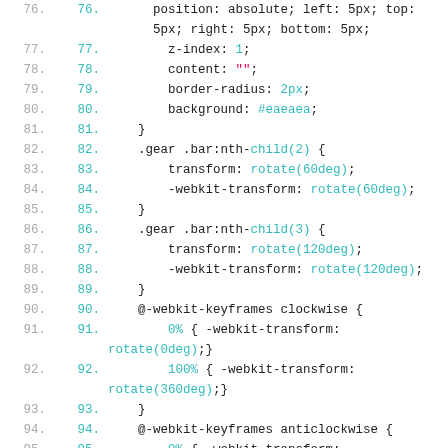Code listing lines 76-98 showing CSS code with line numbers
76.    position: absolute; left: 5px; top: 5px; right: 5px; bottom: 5px;
77.        z-index: 1;
78.        content: "";
79.        border-radius: 2px;
80.        background: #eaeaea;
81.    }
82.    .gear .bar:nth-child(2) {
83.        transform: rotate(60deg);
84.        -webkit-transform: rotate(60deg);
85.    }
86.    .gear .bar:nth-child(3) {
87.        transform: rotate(120deg);
88.        -webkit-transform: rotate(120deg);
89.    }
90.    @-webkit-keyframes clockwise {
91.        0% { -webkit-transform: rotate(0deg);}
92.        100% { -webkit-transform: rotate(360deg);}
93.    }
94.    @-webkit-keyframes anticlockwise {
95.        0% { -webkit-transform: rotate(360deg);}
96.        100% { -webkit-transform: rotate(0deg);}
97.    }
98.    @-webkit-keyframes clockwiseError {